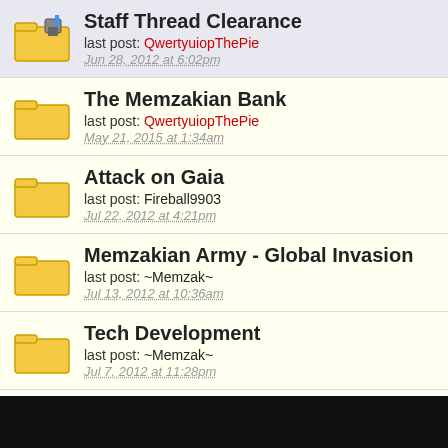Staff Thread Clearance
last post: QwertyuiopThePie
Jun 28, 2012 at 6:02pm
The Memzakian Bank
last post: QwertyuiopThePie
May 21, 2015 at 1:34am
Attack on Gaia
last post: Fireball9903
Jul 22, 2012 at 4:21pm
Memzakian Army - Global Invasion
last post: ~Memzak~
Jul 13, 2012 at 10:36am
Tech Development
last post: ~Memzak~
Jul 7, 2012 at 11:28pm
Aircraft formations
last post: Fireball9903
Jul 7, 2012 at 11:02pm
Master Atack Plan